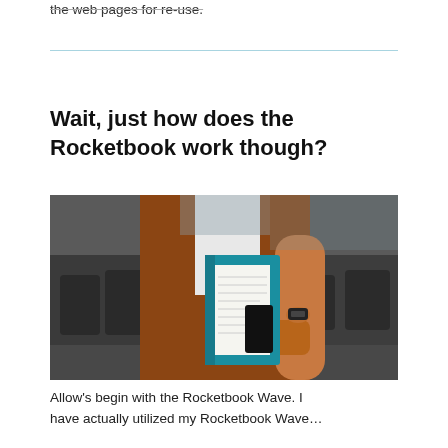the web pages for re-use.
Wait, just how does the Rocketbook work though?
[Figure (photo): A person carrying a teal Rocketbook notebook and a phone in an office setting, wearing an orange blazer and white shirt.]
Allow's begin with the Rocketbook Wave. I have actually utilized my Rocketbook Wave…